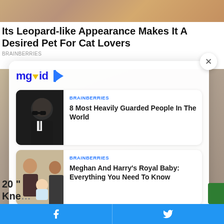[Figure (photo): Top strip of a photo showing leopard-print pattern]
Its Leopard-like Appearance Makes It A Desired Pet For Cat Lovers
BRAINBERRIES
[Figure (screenshot): MGID content recommendation popup with two article cards]
BRAINBERRIES
8 Most Heavily Guarded People In The World
BRAINBERRIES
Meghan And Harry's Royal Baby: Everything You Need To Know
Facebook and Twitter share buttons